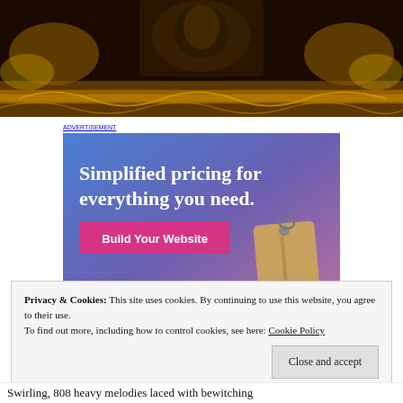[Figure (photo): Decorative ornate image with gold baroque patterns and a central figure on black background]
[Figure (screenshot): Advertisement banner: 'Simplified pricing for everything you need.' with a pink 'Build Your Website' button and a price tag graphic on blue-purple gradient background]
Privacy & Cookies: This site uses cookies. By continuing to use this website, you agree to their use.
To find out more, including how to control cookies, see here: Cookie Policy
Close and accept
Swirling, 808 heavy melodies laced with bewitching